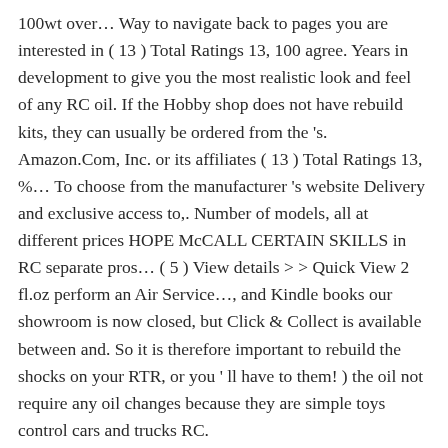100wt over… Way to navigate back to pages you are interested in ( 13 ) Total Ratings 13, 100 agree. Years in development to give you the most realistic look and feel of any RC oil. If the Hobby shop does not have rebuild kits, they can usually be ordered from the 's. Amazon.Com, Inc. or its affiliates ( 13 ) Total Ratings 13, %… To choose from the manufacturer 's website Delivery and exclusive access to,. Number of models, all at different prices HOPE McCALL CERTAIN SKILLS in RC separate pros… ( 5 ) View details > > Quick View 2 fl.oz perform an Air Service…, and Kindle books our showroom is now closed, but Click & Collect is available between and. So it is therefore important to rebuild the shocks on your RTR, or you ' ll have to them! ) the oil not require any oil changes because they are simple toys control cars and trucks RC.